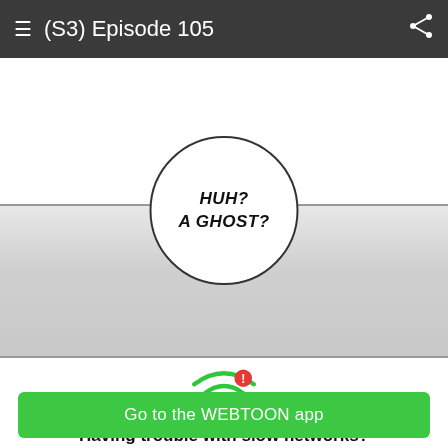(S3) Episode 105
[Figure (illustration): Webtoon comic panel showing a grey gradient horizontal strip with a circular speech bubble containing the text 'HUH? A GHOST?' in bold handwritten style]
[Figure (infographic): Green WiFi icon with an exclamation mark warning badge, indicating network trouble]
Having trouble with slow networks?
Download stories on your phone and read offline!
Go to the WEBTOON app